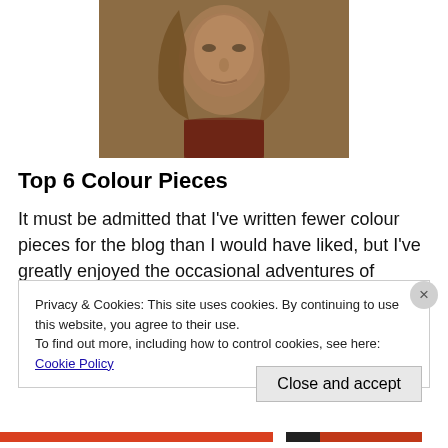[Figure (photo): A young man with long light brown hair in a warrior/medieval costume, looking intensely at the camera. Sepia-toned movie still.]
Top 6 Colour Pieces
It must be admitted that I've written fewer colour pieces for the blog than I would have liked, but I've greatly enjoyed the occasional adventures of Hollywood insider Micawber-
Privacy & Cookies: This site uses cookies. By continuing to use this website, you agree to their use.
To find out more, including how to control cookies, see here: Cookie Policy
Close and accept